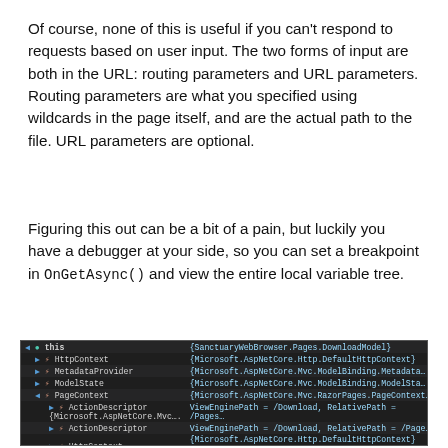Of course, none of this is useful if you can't respond to requests based on user input. The two forms of input are both in the URL: routing parameters and URL parameters. Routing parameters are what you specified using wildcards in the page itself, and are the actual path to the file. URL parameters are optional.
Figuring this out can be a bit of a pain, but luckily you have a debugger at your side, so you can set a breakpoint in OnGetAsync() and view the entire local variable tree.
[Figure (screenshot): Visual Studio debugger locals window showing variable tree with 'this' as SanctuaryWebBrowser.Pages.DownloadModel, with children HttpContext, MetadataProvider, ModelState, PageContext (expanded showing ActionDescriptor entries, HttpContext, ModelState)]